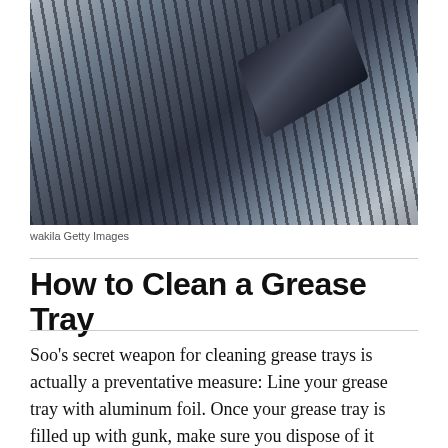[Figure (photo): Close-up photo of a grill grate being cleaned with a brush, showing metallic grill grates and a dark brush head.]
wakila Getty Images
How to Clean a Grease Tray
Soo's secret weapon for cleaning grease trays is actually a preventative measure: Line your grease tray with aluminum foil. Once your grease tray is filled up with gunk, make sure you dispose of it